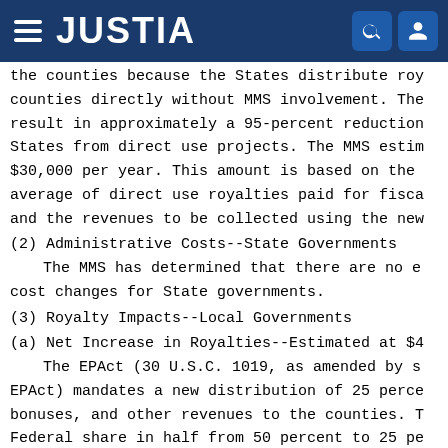JUSTIA
the counties because the States distribute roy counties directly without MMS involvement. The result in approximately a 95-percent reduction States from direct use projects. The MMS estim $30,000 per year. This amount is based on the average of direct use royalties paid for fisca and the revenues to be collected using the new
(2) Administrative Costs--State Governments
The MMS has determined that there are no e cost changes for State governments.
(3) Royalty Impacts--Local Governments
(a) Net Increase in Royalties--Estimated at $4
The EPAct (30 U.S.C. 1019, as amended by s EPAct) mandates a new distribution of 25 perce bonuses, and other revenues to the counties. T Federal share in half from 50 percent to 25 pe States' share as 50 percent. The counties will